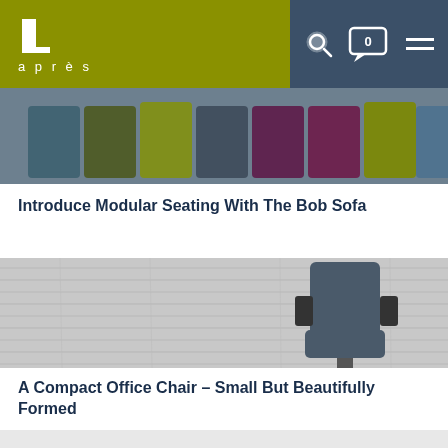[Figure (logo): Après furniture brand logo: white L-shaped icon with 'après' text below, on olive/yellow-green background header with dark blue-grey nav section containing search, chat, and menu icons]
[Figure (photo): Close-up top-down view of colorful modular sofa backs in blue, olive, yellow, purple, and lime green upholstery]
Introduce Modular Seating With The Bob Sofa
[Figure (photo): Overhead view of a dark grey compact office chair with metal armrests on a grey wooden plank background]
A Compact Office Chair – Small But Beautifully Formed
[Figure (photo): Partial view of a third article image, light grey/white, partially visible at bottom of page]